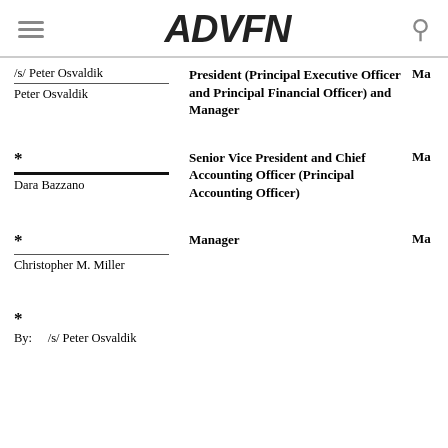ADVFN
/s/ Peter Osvaldik
Peter Osvaldik
President (Principal Executive Officer and Principal Financial Officer) and Manager
Ma
*
Dara Bazzano
Senior Vice President and Chief Accounting Officer (Principal Accounting Officer)
Ma
*
Christopher M. Miller
Manager
Ma
*
By:    /s/ Peter Osvaldik